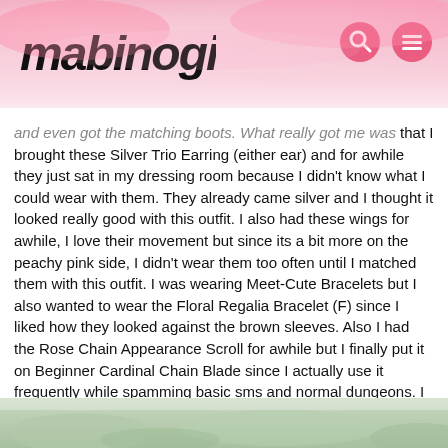mabinogi
and even got the matching boots. What really got me was that I brought these Silver Trio Earring (either ear) and for awhile they just sat in my dressing room because I didn't know what I could wear with them. They already came silver and I thought it looked really good with this outfit. I also had these wings for awhile, I love their movement but since its a bit more on the peachy pink side, I didn't wear them too often until I matched them with this outfit. I was wearing Meet-Cute Bracelets but I also wanted to wear the Floral Regalia Bracelet (F) since I liked how they looked against the brown sleeves. Also I had the Rose Chain Appearance Scroll for awhile but I finally put it on Beginner Cardinal Chain Blade since I actually use it frequently while spamming basic sms and normal dungeons. I love how this whole outfit looks and glad I decided to get it. Also took pictures with my good friend Ven and with a Pink Darrig from the Mini Gem (ran in front right as I took the picture haha).
[Figure (photo): Bottom portion of an in-game screenshot showing a green/nature background scene]